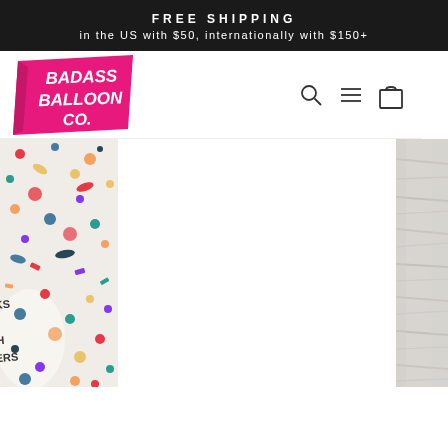FREE SHIPPING
in the US with $50, internationally with $150+
[Figure (logo): Badass Balloon Co. logo — pink angled badge with white hand-drawn text]
[Figure (photo): Left edge: colorful confetti with a white balloon partially visible, text on balloon reads partially visible letters]
[Figure (photo): Right edge: grey weathered wood texture background]